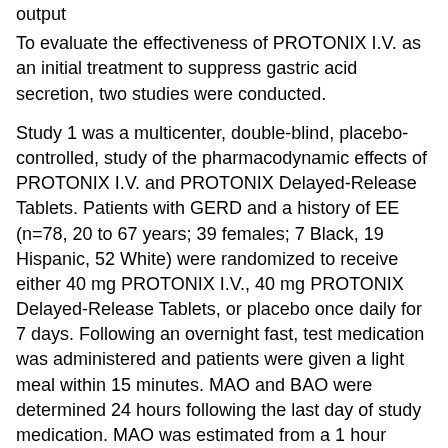output
To evaluate the effectiveness of PROTONIX I.V. as an initial treatment to suppress gastric acid secretion, two studies were conducted.
Study 1 was a multicenter, double-blind, placebo-controlled, study of the pharmacodynamic effects of PROTONIX I.V. and PROTONIX Delayed-Release Tablets. Patients with GERD and a history of EE (n=78, 20 to 67 years; 39 females; 7 Black, 19 Hispanic, 52 White) were randomized to receive either 40 mg PROTONIX I.V., 40 mg PROTONIX Delayed-Release Tablets, or placebo once daily for 7 days. Following an overnight fast, test medication was administered and patients were given a light meal within 15 minutes. MAO and BAO were determined 24 hours following the last day of study medication. MAO was estimated from a 1 hour continuous collection of gastric contents following subcutaneous injection of 6.0 mcg/kg of pentagastrin to stimulate acid secretion. This study demonstrated that, after treatment for 7 days, patients treated with PROTONIX I.V. had a significantly lower MAO and BAO than those treated with placebo (p<0.001), and results